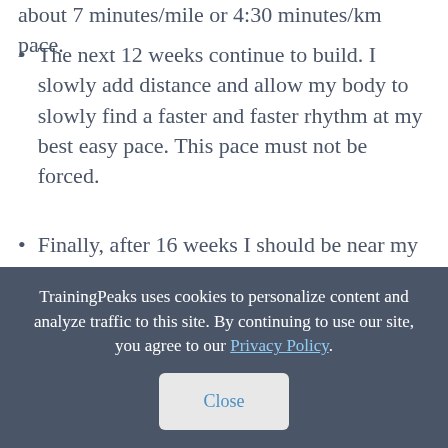about 7 minutes/mile or 4:30 minutes/km pace.
The next 12 weeks continue to build. I slowly add distance and allow my body to slowly find a faster and faster rhythm at my best easy pace. This pace must not be forced.
Finally, after 16 weeks I should be near my goal pace and my goal distance of 20 miles (32km) and my best easy pace is now at 6:40 minutes/mile or 4:08 minutes/km pace.
TrainingPeaks uses cookies to personalize content and analyze traffic to this site. By continuing to use our site, you agree to our Privacy Policy.
Close